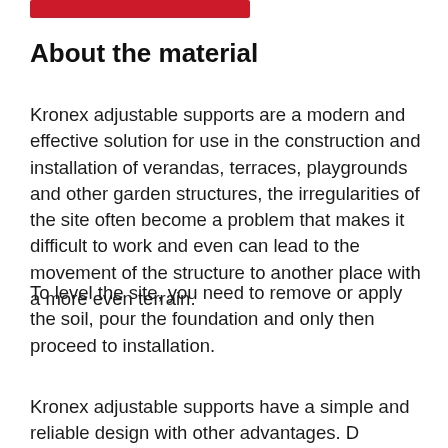[Figure (other): Red decorative bar at top of page]
About the material
Kronex adjustable supports are a modern and effective solution for use in the construction and installation of verandas, terraces, playgrounds and other garden structures, the irregularities of the site often become a problem that makes it difficult to work and even can lead to the movement of the structure to another place with a more even terrain.
To level the site, you need to remove or apply the soil, pour the foundation and only then proceed to installation.
Kronex adjustable supports have a simple and reliable design with other advantages. D...